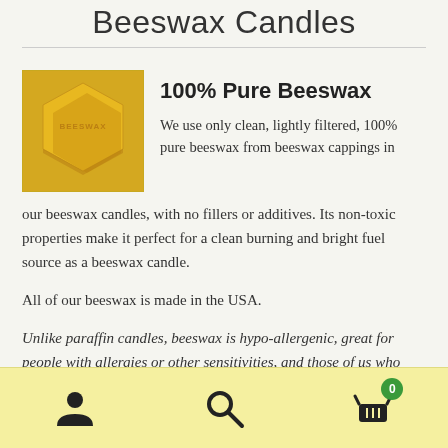Beeswax Candles
[Figure (photo): Yellow/golden hexagonal beeswax block with 'BEESWAX' text embossed]
100% Pure Beeswax
We use only clean, lightly filtered, 100% pure beeswax from beeswax cappings in our beeswax candles, with no fillers or additives. Its non-toxic properties make it perfect for a clean burning and bright fuel source as a beeswax candle.
All of our beeswax is made in the USA.
Unlike paraffin candles, beeswax is hypo-allergenic, great for people with allergies or other sensitivities, and those of us who
Navigation bar with user icon, search icon, and cart icon with badge 0